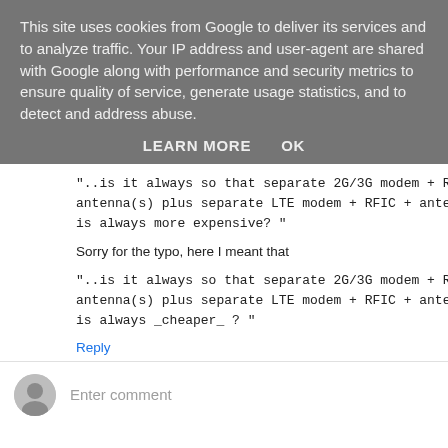This site uses cookies from Google to deliver its services and to analyze traffic. Your IP address and user-agent are shared with Google along with performance and security metrics to ensure quality of service, generate usage statistics, and to detect and address abuse.
LEARN MORE    OK
"..is it always so that separate 2G/3G modem + RFIC + antenna(s) plus separate LTE modem + RFIC + antennas is always more expensive? "
Sorry for the typo, here I meant that
"..is it always so that separate 2G/3G modem + RFIC + antenna(s) plus separate LTE modem + RFIC + antennas is always _cheaper_ ? "
Reply
Enter comment